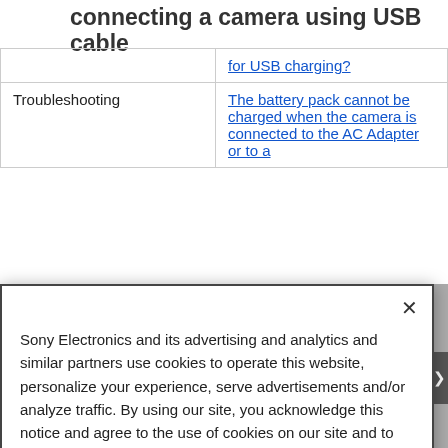connecting a camera using USB cable
|  | for USB charging? |
| Troubleshooting | The battery pack cannot be charged when the camera is connected to the AC Adapter or to a |
Sony Electronics and its advertising and analytics and similar partners use cookies to operate this website, personalize your experience, serve advertisements and/or analyze traffic. By using our site, you acknowledge this notice and agree to the use of cookies on our site and to our Privacy Policy.